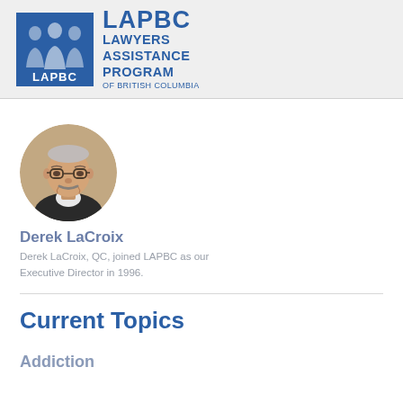[Figure (logo): LAPBC Lawyers Assistance Program of British Columbia logo — blue square with silhouette figures on left, blue text on right]
[Figure (photo): Circular headshot photo of Derek LaCroix, a middle-aged man with glasses and a moustache wearing a dark jacket]
Derek LaCroix
Derek LaCroix, QC, joined LAPBC as our Executive Director in 1996.
Current Topics
Addiction